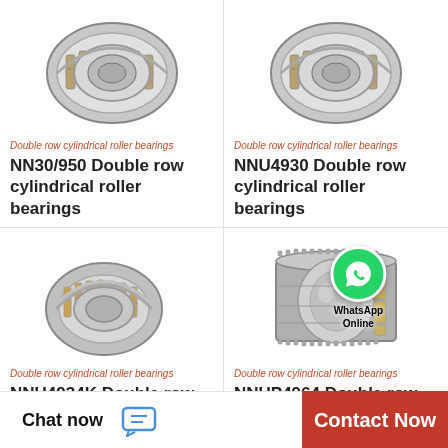[Figure (photo): Double row cylindrical roller bearing - NNN30/950]
Double row cylindrical roller bearings
NN30/950 Double row cylindrical roller bearings
[Figure (photo): Double row cylindrical roller bearing - NNU4930]
Double row cylindrical roller bearings
NNU4930 Double row cylindrical roller bearings
[Figure (photo): Double row cylindrical roller bearing - NNU4934K]
Double row cylindrical roller bearings
NNU4934K Double row cylindrical roller bearings
[Figure (photo): Double row cylindrical roller bearing - NNUP4964 with WhatsApp Online overlay]
Double row cylindrical roller bearings
NNUP4964 Double row cylindrical roller bearings
Chat now
Contact Now